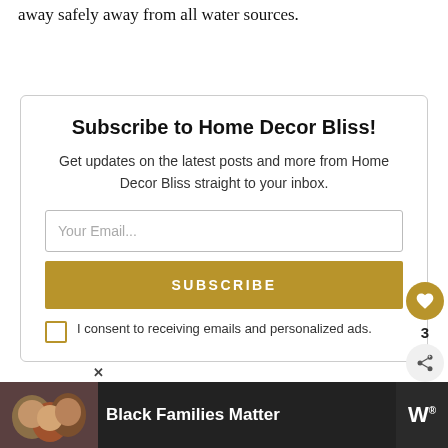away safely away from all water sources.
Subscribe to Home Decor Bliss!
Get updates on the latest posts and more from Home Decor Bliss straight to your inbox.
Your Email...
SUBSCRIBE
I consent to receiving emails and personalized ads.
WHAT'S NEXT → Best Recessed...
Black Families Matter